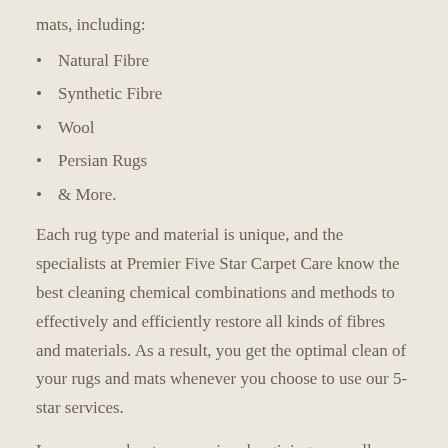mats, including:
Natural Fibre
Synthetic Fibre
Wool
Persian Rugs
& More.
Each rug type and material is unique, and the specialists at Premier Five Star Carpet Care know the best cleaning chemical combinations and methods to effectively and efficiently restore all kinds of fibres and materials. As a result, you get the optimal clean of your rugs and mats whenever you choose to use our 5-star services.
Learn more about our services by giving us a call today on 0400 968 140.